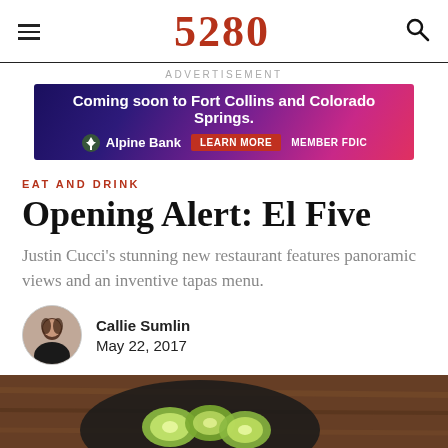5280
ADVERTISEMENT
[Figure (illustration): Alpine Bank advertisement banner: 'Coming soon to Fort Collins and Colorado Springs.' with tree logo, Learn More button, and Member FDIC text on a purple/pink gradient background]
EAT AND DRINK
Opening Alert: El Five
Justin Cucci's stunning new restaurant features panoramic views and an inventive tapas menu.
Callie Sumlin
May 22, 2017
[Figure (photo): Close-up photo of sliced zucchini or cucumber in a dark bowl on a wooden surface]